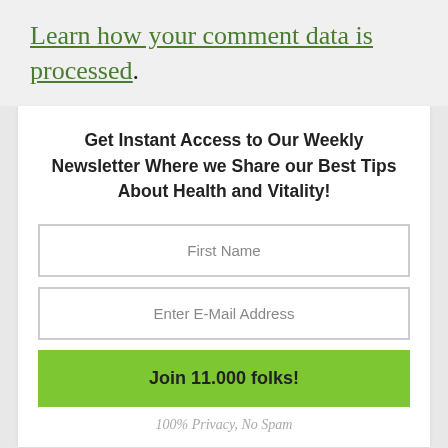Learn how your comment data is processed.
Get Instant Access to Our Weekly Newsletter Where we Share our Best Tips About Health and Vitality!
First Name
Enter E-Mail Address
Join 11.000 folks!
100% Privacy, No Spam